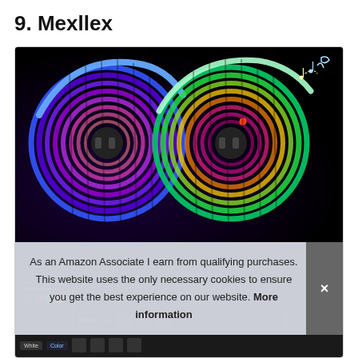9. Mexllex
[Figure (photo): Product photo of Mexllex RGB LED light strip coils showing two coiled LED strips glowing in rainbow colors (blue, purple, pink on the left coil; green, pink, magenta on the right coil), with a smartphone app controller on the lower left and a small remote control on the right side. A cookie consent banner overlay reads: 'As an Amazon Associate I earn from qualifying purchases. This website uses the only necessary cookies to ensure you get the best experience on our website. More information' with an X close button.]